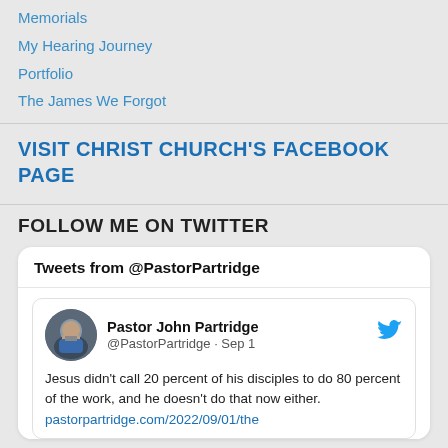Memorials
My Hearing Journey
Portfolio
The James We Forgot
VISIT CHRIST CHURCH'S FACEBOOK PAGE
FOLLOW ME ON TWITTER
Tweets from @PastorPartridge
Pastor John Partridge
@PastorPartridge · Sep 1

Jesus didn't call 20 percent of his disciples to do 80 percent of the work, and he doesn't do that now either. pastorpartridge.com/2022/09/01/the